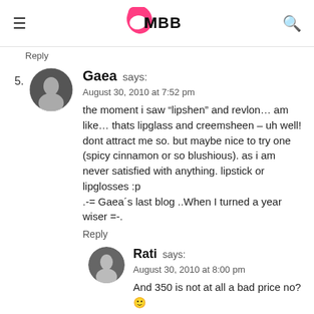IMBB
Reply
5. Gaea says:
August 30, 2010 at 7:52 pm
the moment i saw “lipshen” and revlon… am like… thats lipglass and creemsheen – uh well! dont attract me so. but maybe nice to try one (spicy cinnamon or so blushious). as i am never satisfied with anything. lipstick or lipglosses :p
.-= Gaea´s last blog ..When I turned a year wiser =-.
Reply
Rati says:
August 30, 2010 at 8:00 pm
And 350 is not at all a bad price no? 🙂
Reply